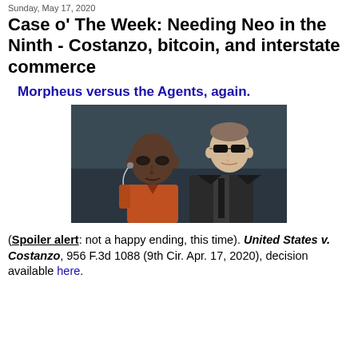Sunday, May 17, 2020
Case o' The Week: Needing Neo in the Ninth - Costanzo, bitcoin, and interstate commerce
Morpheus versus the Agents, again.
[Figure (photo): Scene from The Matrix film showing Morpheus (bald man) and Agent Smith (man in suit with sunglasses) facing forward in a dark interior setting.]
(Spoiler alert: not a happy ending, this time). United States v. Costanzo, 956 F.3d 1088 (9th Cir. Apr. 17, 2020), decision available here.